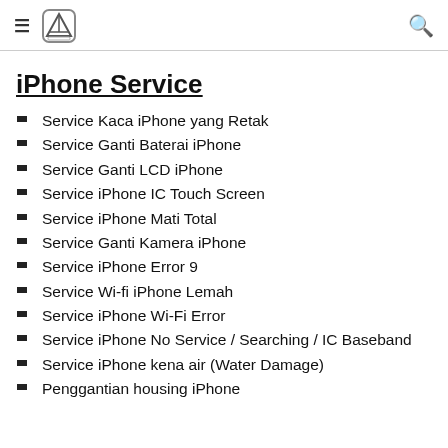≡ [logo] 🔍
iPhone Service
Service Kaca iPhone yang Retak
Service Ganti Baterai iPhone
Service Ganti LCD iPhone
Service iPhone IC Touch Screen
Service iPhone Mati Total
Service Ganti Kamera iPhone
Service iPhone Error 9
Service Wi-fi iPhone Lemah
Service iPhone Wi-Fi Error
Service iPhone No Service / Searching / IC Baseband
Service iPhone kena air (Water Damage)
Penggantian housing iPhone